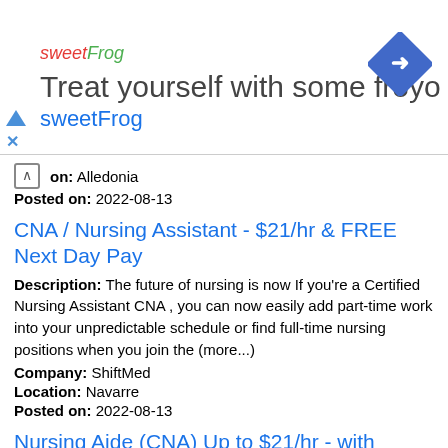[Figure (screenshot): Advertisement banner for sweetFrog frozen yogurt. Shows sweetFrog logo in red/green italic text, headline 'Treat yourself with some froyo', subheading 'sweetFrog' in blue, and a blue diamond navigation icon on the right. Small blue triangle play arrow and X close button on the left.]
ity: Olmsted
on: Alledonia
Posted on: 2022-08-13
CNA / Nursing Assistant - $21/hr & FREE Next Day Pay
Description: The future of nursing is now If you're a Certified Nursing Assistant CNA , you can now easily add part-time work into your unpredictable schedule or find full-time nursing positions when you join the (more...)
Company: ShiftMed
Location: Navarre
Posted on: 2022-08-13
Nursing Aide (CNA) Up to $21/hr - with Holiday Pay
Description: It's time to take control of your own career When you join the ShiftMed team, you can browse through 100 shifts from local nursing homes and skilled nursing facilities needing full-time and part-time (more...)
Company: ShiftMed
Location: Belmont
Posted on: 2022-08-13
Hiring Licensed Practical Nurse (LPN) Up to $36/hr with